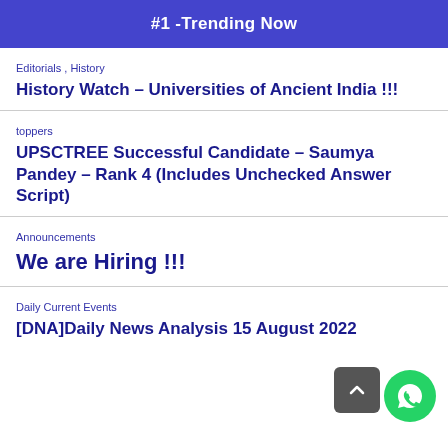#1 -Trending Now
Editorials , History
History Watch – Universities of Ancient India !!!
toppers
UPSCTREE Successful Candidate – Saumya Pandey – Rank 4 (Includes Unchecked Answer Script)
Announcements
We are Hiring !!!
Daily Current Events
[DNA]Daily News Analysis 15 August 2022